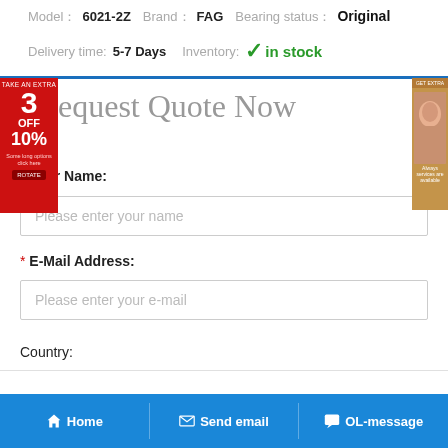Model：  6021-2Z    Brand：  FAG    Bearing status：  Original
Delivery time:  5-7 Days    Inventory:  ✓ in stock
Request Quote Now
* Your Name:
Please enter your name
* E-Mail Address:
Please enter your e-mail
Country:
Home   Send email   OL-message